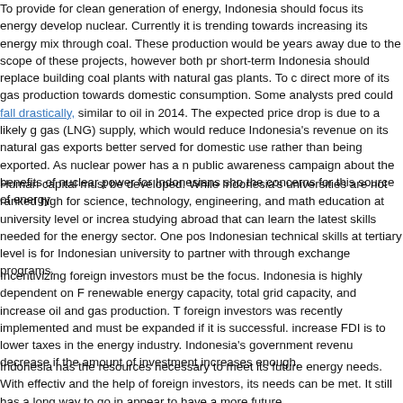To provide for clean generation of energy, Indonesia should focus its energy develop nuclear. Currently it is trending towards increasing its energy mix through coal. These production would be years away due to the scope of these projects, however both pr short-term Indonesia should replace building coal plants with natural gas plants. To c direct more of its gas production towards domestic consumption. Some analysts pred could fall drastically, similar to oil in 2014. The expected price drop is due to a likely g gas (LNG) supply, which would reduce Indonesia's revenue on its natural gas exports better served for domestic use rather than being exported. As nuclear power has a n public awareness campaign about the benefits of nuclear power for Indonesians sho the concerns for this source of energy.
Human capital must be developed. While Indonesia's universities are not ranked high for science, technology, engineering, and math education at university level or increa studying abroad that can learn the latest skills needed for the energy sector. One pos Indonesian technical skills at tertiary level is for Indonesian university to partner with through exchange programs.
Incentivizing foreign investors must be the focus. Indonesia is highly dependent on F renewable energy capacity, total grid capacity, and increase oil and gas production. T foreign investors was recently implemented and must be expanded if it is successful. increase FDI is to lower taxes in the energy industry. Indonesia's government revenu decrease if the amount of investment increases enough.
Indonesia has the resources necessary to meet its future energy needs. With effectiv and the help of foreign investors, its needs can be met. It still has a long way to go in appear to have a more future.